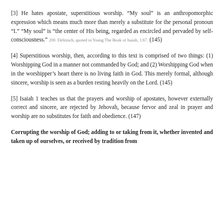[3] He hates apostate, superstitious worship. “My soul” is an anthropomorphic expression which means much more than merely a substitute for the personal pronoun “I.” “My soul” is “the center of His being, regarded as encircled and pervaded by self-consciousness.” 200. Delitzsch, quoted in Young The Book of Isaiah, 1:67. (145)
[4] Superstitious worship, then, according to this text is comprised of two things: (1) Worshipping God in a manner not commanded by God; and (2) Worshipping God when in the worshipper’s heart there is no living faith in God. This merely formal, although sincere, worship is seen as a burden resting heavily on the Lord. (145)
[5] Isaiah 1 teaches us that the prayers and worship of apostates, however externally correct and sincere, are rejected by Jehovah, because fervor and zeal in prayer and worship are no substitutes for faith and obedience. (147)
Corrupting the worship of God; adding to or taking from it, whether invented and taken up of ourselves, or received by tradition from